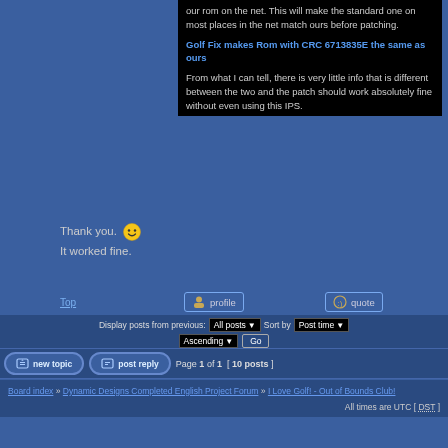our rom on the net. This will make the standard one on most places in the net match ours before patching.
Golf Fix makes Rom with CRC 6713835E the same as ours
From what I can tell, there is very little info that is different between the two and the patch should work absolutely fine without even using this IPS.
Thank you. 😁
It worked fine.
Top
profile
quote
Display posts from previous: All posts Sort by Post time Ascending Go
new topic   post reply   Page 1 of 1 [ 10 posts ]
Board index » Dynamic Designs Completed English Project Forum » I Love Golf! - Out of Bounds Club!
All times are UTC [ DST ]